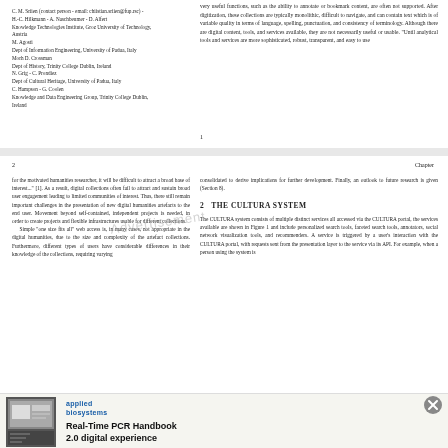C. M. Sriien (contact person - email: chiistian.sriien@fup.rsc) - H.-C. Hilkmann - A. Naschbeumer - D. Alfert
Knowledge Technologies Institute, Groz University of Technology, Austria
M. Agosti
Dept of Information Engineering, University of Padua, Italy
Morh D. Crossman
Dept of History, Trinity College Dublin, Ireland
N. Grig - C. Prondiez
Dept of Cultural Heritage, University of Padua, Italy
C. Hampson - G. Coolen
Knowledge and Data Engineering Group, Trinity College Dublin, Ireland
very useful functions, such as the ability to annotate or bookmark content, are often not supported. After digitization, these collections are typically monolithic, difficult to navigate, and can contain text which is of variable quality in terms of language, spelling, punctuation, and consistency of terminology. Although there are digital content, tools, and services available, they are not necessarily useful or usable. "Until analytical tools and services are more sophisticated, robust, transparent, and easy to use
1
2
Chapter
for the motivated humanities researcher, it will be difficult to attract a broad base of interest..." [1]. As a result, digital collections often fail to attract and sustain broad user engagement leading to limited communities of interest. Thus, there still remain important challenges in the presentation of new digital humanities artefacts to the end user. Movement beyond self-contained, independent projects is needed, in order to create projects and flexible infrastructures usable for different collections.
    Simple "one size fits all" web access is, in many cases, not appropriate in the digital humanities, due to the size and complexity of the artefact collections. Furthermore, different types of users have considerable differences in their knowledge of the collections, requiring varying
consolidated to derive implications for further development. Finally, an outlook to future research is given (Section 8).
2   THE CULTURA SYSTEM
The CULTURA system consists of multiple distinct services all accessed via the CULTURA portal, the services available are shown in Figure 1 and include personalized search tools, faceted search tools, annotators, social network visualization tools, and recommenders. A service is triggered by a user's interaction with the CULTURA portal, with requests sent from the presentation layer to the service via its API. For example, when a person using the system is
[Figure (screenshot): Thumbnail image of a document page showing a computer interface screenshot]
applied
biosystems
Real-Time PCR Handbook
2.0 digital experience